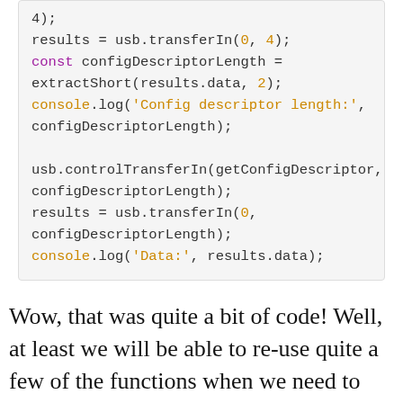[Figure (screenshot): Code snippet showing JavaScript USB control transfer operations with syntax highlighting]
Wow, that was quite a bit of code! Well, at least we will be able to re-use quite a few of the functions when we need to perform the other USB transfers. If you'd like to read more about USB, I can definitely